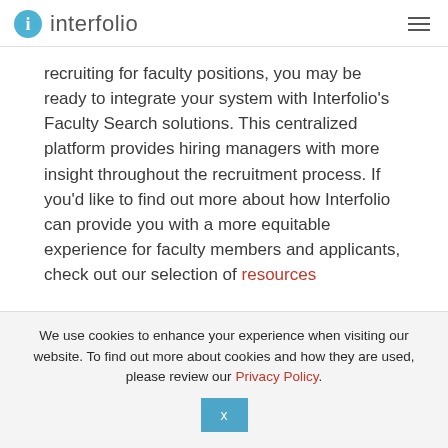interfolio
recruiting for faculty positions, you may be ready to integrate your system with Interfolio's Faculty Search solutions. This centralized platform provides hiring managers with more insight throughout the recruitment process. If you'd like to find out more about how Interfolio can provide you with a more equitable experience for faculty members and applicants, check out our selection of resources
We use cookies to enhance your experience when visiting our website. To find out more about cookies and how they are used, please review our Privacy Policy.